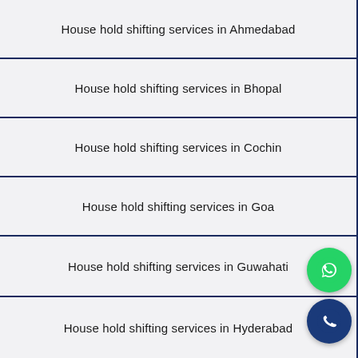House hold shifting services in Ahmedabad
House hold shifting services in Bhopal
House hold shifting services in Cochin
House hold shifting services in Goa
House hold shifting services in Guwahati
House hold shifting services in Hyderabad